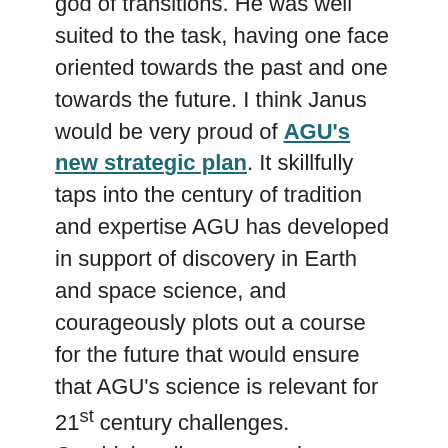god of transitions. He was well suited to the task, having one face oriented towards the past and one towards the future. I think Janus would be very proud of AGU's new strategic plan. It skillfully taps into the century of tradition and expertise AGU has developed in support of discovery in Earth and space science, and courageously plots out a course for the future that would ensure that AGU's science is relevant for 21st century challenges. Combining discovery and solutions, co-creating new knowledge through sustainable partnerships, promoting inclusion, building trust – all these elements of the plan resonate extremely well with the vision and mission of the Thriving Earth Exchange.
There are always challenging tensions to balance when devising a new...